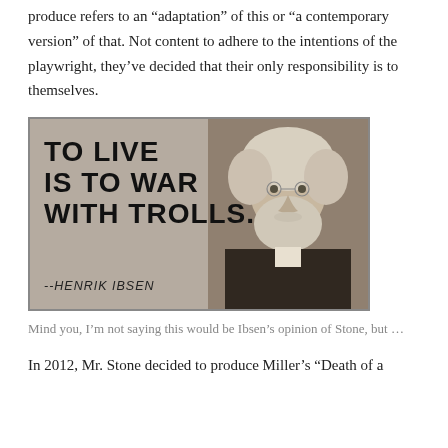produce refers to an “adaptation” of this or “a contemporary version” of that. Not content to adhere to the intentions of the playwright, they’ve decided that their only responsibility is to themselves.
[Figure (photo): Black and white image showing the quote 'TO LIVE IS TO WAR WITH TROLLS.' attributed to --HENRIK IBSEN, with a portrait photograph of Henrik Ibsen on the right side.]
Mind you, I’m not saying this would be Ibsen’s opinion of Stone, but …
In 2012, Mr. Stone decided to produce Miller’s “Death of a